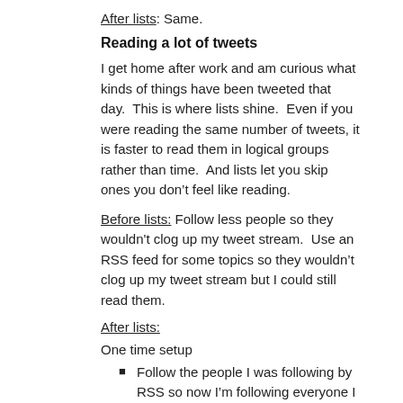After lists: Same.
Reading a lot of tweets
I get home after work and am curious what kinds of things have been tweeted that day.  This is where lists shine.  Even if you were reading the same number of tweets, it is faster to read them in logical groups rather than time.  And lists let you skip ones you don’t feel like reading.
Before lists: Follow less people so they wouldn't clog up my tweet stream.  Use an RSS feed for some topics so they wouldn’t clog up my tweet stream but I could still read them.
After lists:
One time setup
Follow the people I was following by RSS so now I’m following everyone I want to